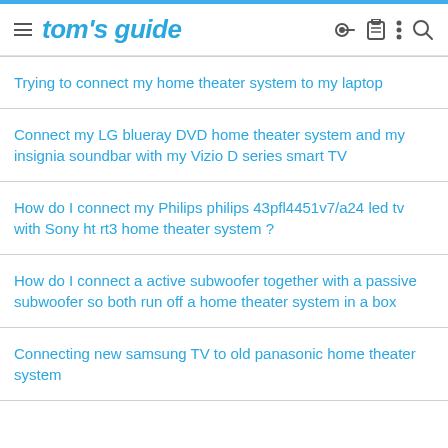tom's guide
Trying to connect my home theater system to my laptop
Connect my LG blueray DVD home theater system and my insignia soundbar with my Vizio D series smart TV
How do I connect my Philips philips 43pfl4451v7/a24 led tv with Sony ht rt3 home theater system ?
How do I connect a active subwoofer together with a passive subwoofer so both run off a home theater system in a box
Connecting new samsung TV to old panasonic home theater system